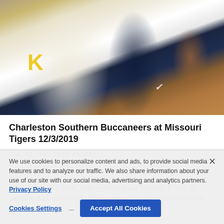[Figure (photo): Basketball players in action — one in white uniform, one in dark navy uniform, with a yellow 'K' visible in background. Close-up torso/legs shot.]
Charleston Southern Buccaneers at Missouri Tigers 12/3/2019
Dec. 03, 2019 08:52 PM EST
Charleston Southern tops Delaware St. 71-61
Nov. 30, 2019
JOHNSON CITY, Tenn. (AP) — Phlandrous Fleming Jr. had 19 points and 12 rebounds to lift Charleston Southern to a 71-61 win over Delaware...